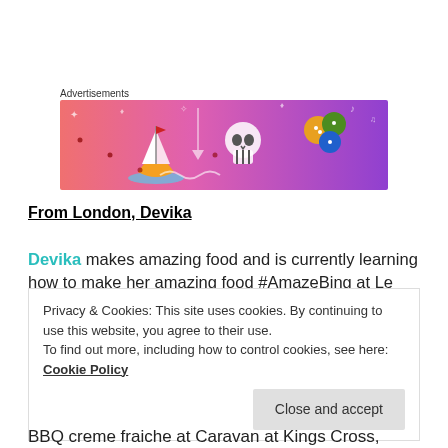Advertisements
[Figure (illustration): Colorful advertisement banner with gradient background from pink/coral on the left to purple on the right, featuring whimsical illustrated icons: a sailboat, skull, dice, gems, arrows, stars, music notes, and various doodles in white and color]
From London, Devika
Devika makes amazing food and is currently learning how to make her amazing food #AmazeBing at Le Cordon Bleu, in London.
Privacy & Cookies: This site uses cookies. By continuing to use this website, you agree to their use.
To find out more, including how to control cookies, see here:
Cookie Policy

Close and accept
BBQ creme fraiche at Caravan at Kings Cross,